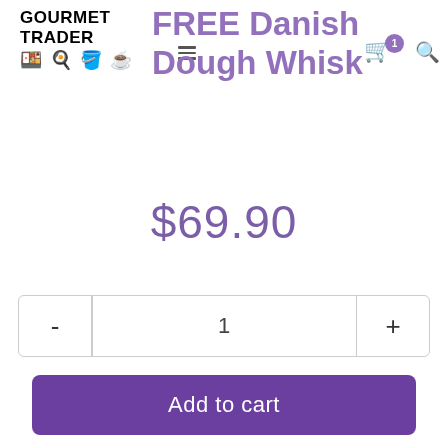GOURMET TRADER
FREE Danish Dough Whisk
$69.90
- 1 +
Add to cart